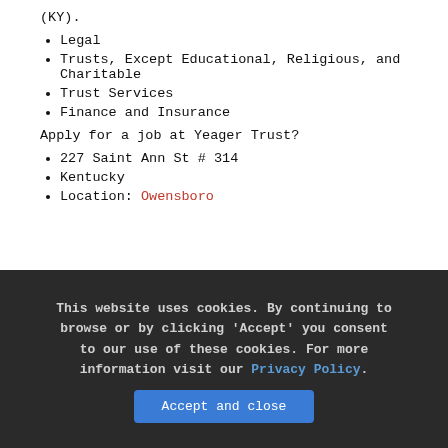(KY).
Legal
Trusts, Except Educational, Religious, and Charitable
Trust Services
Finance and Insurance
Apply for a job at Yeager Trust?
227 Saint Ann St # 314
Kentucky
Location: Owensboro
This website uses cookies. By continuing to browse or by clicking 'Accept' you consent to our use of these cookies. For more information visit our Privacy Policy.